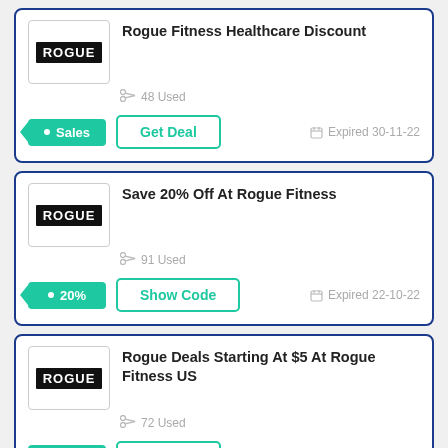[Figure (infographic): Deal card 1: Rogue Fitness logo, title 'Rogue Fitness Healthcare Discount', 48 Used, Sales badge, Get Deal button, Expired 30-11-22]
[Figure (infographic): Deal card 2: Rogue Fitness logo, title 'Save 20% Off At Rogue Fitness', 91 Used, 20% badge, Show Code button, Expired 22-10-22]
[Figure (infographic): Deal card 3: Rogue Fitness logo, title 'Rogue Deals Starting At $5 At Rogue Fitness US', 72 Used, $5 badge, Get Deal button, Expired 27-11-22]